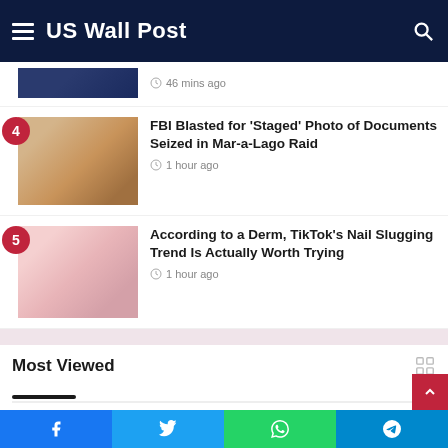US Wall Post
46 mins ago
FBI Blasted for ‘Staged’ Photo of Documents Seized in Mar-a-Lago Raid
1 hour ago
According to a Derm, TikTok’s Nail Slugging Trend Is Actually Worth Trying
1 hour ago
Most Viewed
32 mins ago
SpiceJet Delays Salary Payments For A Second Month